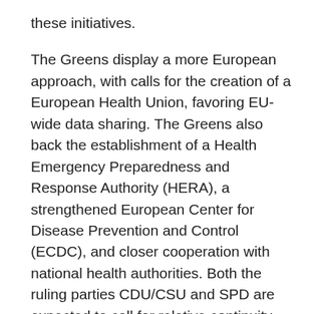these initiatives.
The Greens display a more European approach, with calls for the creation of a European Health Union, favoring EU-wide data sharing. The Greens also back the establishment of a Health Emergency Preparedness and Response Authority (HERA), a strengthened European Center for Disease Prevention and Control (ECDC), and closer cooperation with national health authorities. Both the ruling parties CDU/CSU and SPD are expected to call for relative continuity, while still favoring closer EU health cooperation to a certain extent. On the other hand, the Liberals have focused on positioning Germany and the EU as pharmaceutical production hubs with subsidies designed to encourage production sites. Yet, despite supporting European cooperation, they remain skeptical of sharing health policy competencies with the EU within the framework of building a European Health Union.